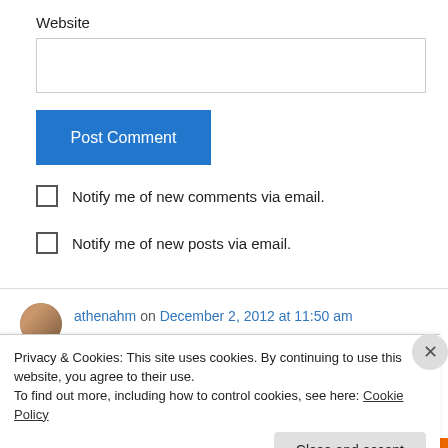Website
[Figure (other): Text input field for website URL]
Post Comment
Notify me of new comments via email.
Notify me of new posts via email.
athenahm on December 2, 2012 at 11:50 am
Privacy & Cookies: This site uses cookies. By continuing to use this website, you agree to their use.
To find out more, including how to control cookies, see here: Cookie Policy
Close and accept